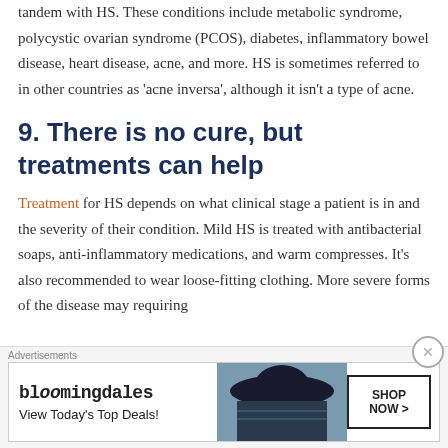tandem with HS. These conditions include metabolic syndrome, polycystic ovarian syndrome (PCOS), diabetes, inflammatory bowel disease, heart disease, acne, and more. HS is sometimes referred to in other countries as 'acne inversa', although it isn't a type of acne.
9. There is no cure, but treatments can help
Treatment for HS depends on what clinical stage a patient is in and the severity of their condition. Mild HS is treated with antibacterial soaps, anti-inflammatory medications, and warm compresses. It's also recommended to wear loose-fitting clothing. More severe forms of the disease may require...
Advertisements
[Figure (other): Bloomingdale's advertisement banner with woman in hat. Text reads: bloomingdales, View Today's Top Deals!, SHOP NOW >]